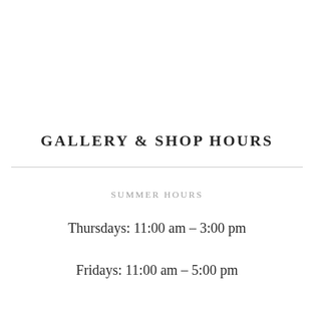GALLERY & SHOP HOURS
SUMMER HOURS
Thursdays: 11:00 am – 3:00 pm
Fridays: 11:00 am – 5:00 pm